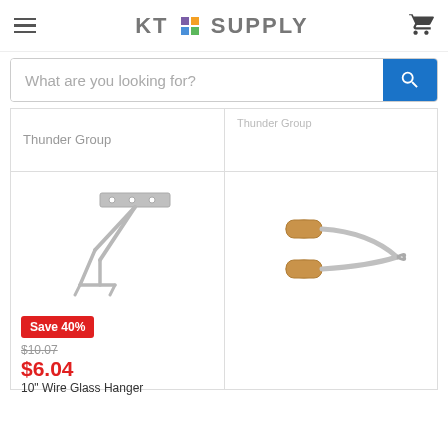KT SUPPLY
What are you looking for?
Thunder Group
Thunder Group
[Figure (photo): Wire glass hanger, chrome metal Y-shaped hanging rack]
Save 40%
$10.07 (strikethrough original price)
$6.04
10" Wire Glass Hanger
[Figure (photo): Kitchen tongs with wooden handles and chrome metal body]